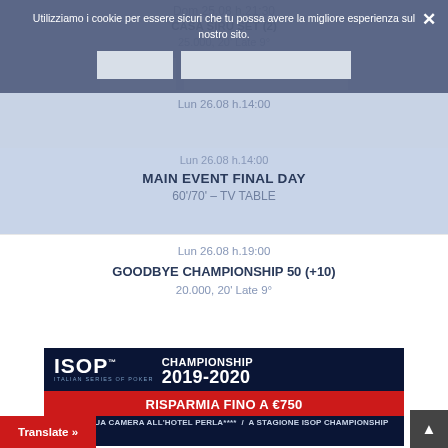Dom 25.08 h.21:30
CASA SIRU SET (2)
25.000, 20' Late 9°
Utilizziamo i cookie per essere sicuri che tu possa avere la migliore esperienza sul nostro sito.
Lun 26.08 h.14:00
MAIN EVENT FINAL DAY
60'/70' – TV TABLE
Lun 26.08 h.19:00
GOODBYE CHAMPIONSHIP 50 (+10)
20.000, 20' Late 9°
[Figure (infographic): ISOP Championship 2019-2020 banner with text 'RISPARMIA FINO A €750' on red background and text 'SULLA TUA CAMERA ALL'HOTEL PERLA**** / A STAGIONE ISOP CHAMPIONSHIP' below]
Translate »